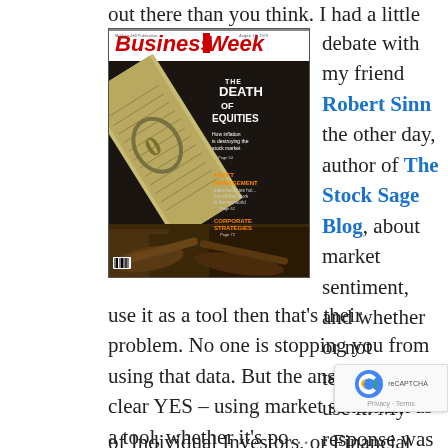out there than you think. I had a little twitter debate with my friend Robert Sinn the other day, author of The Stock Sage Blog, about market sentiment, and whether or not technicians use it. My response was that if they didn't use it as a tool then that's their problem. No one is stopping you from using that data. But the answer was a clear YES – using market sentiment as a tool, whether it's po[pular among] of Individual Investors, or Financial Advisors
[Figure (photo): BusinessWeek magazine cover with headline 'The Death of Equities: How inflation is destroying the stock market']